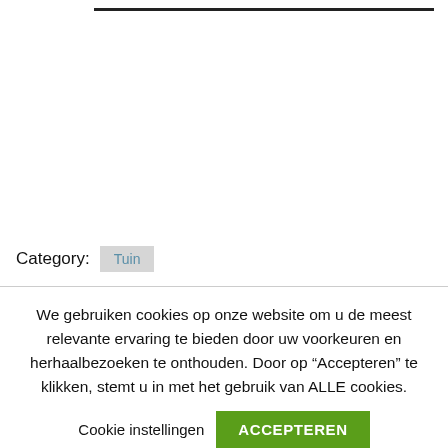Category: Tuin
We gebruiken cookies op onze website om u de meest relevante ervaring te bieden door uw voorkeuren en herhaalbezoeken te onthouden. Door op “Accepteren” te klikken, stemt u in met het gebruik van ALLE cookies.
Cookie instellingen  ACCEPTEREN